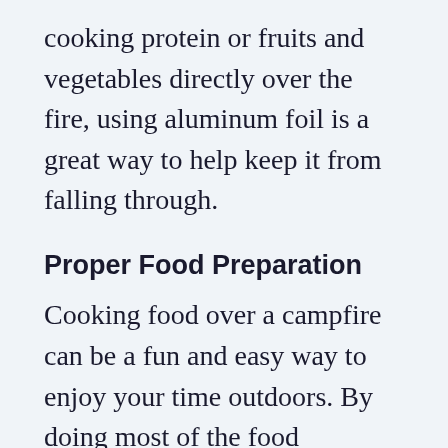cooking protein or fruits and vegetables directly over the fire, using aluminum foil is a great way to help keep it from falling through.
Proper Food Preparation
Cooking food over a campfire can be a fun and easy way to enjoy your time outdoors. By doing most of the food preparation at home, cooking over the campfire becomes simple and convenient. You'll have plenty of